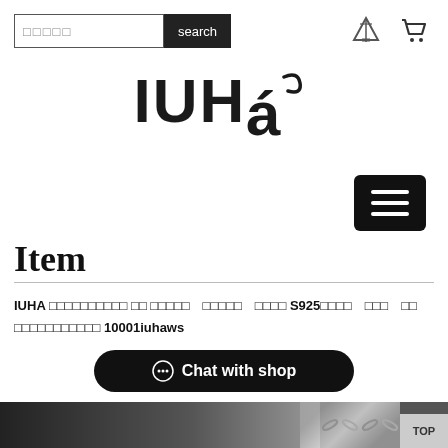search [search bar] [teepee icon] [cart icon]
[Figure (logo): IUHA brand logo in bold black stylized font with accent mark]
[Figure (other): Black hamburger menu button with three white horizontal lines]
Item
IUHA □□□□□□□□□□ □□ □□□□□ □□□□□ □□□□ S925□□□□ □□□ □□ □□□□□□□□□□□ 10001iuhaws
Chat with shop
[Figure (photo): Dark bottom strip showing a partial product photo — chain jewelry visible on right side]